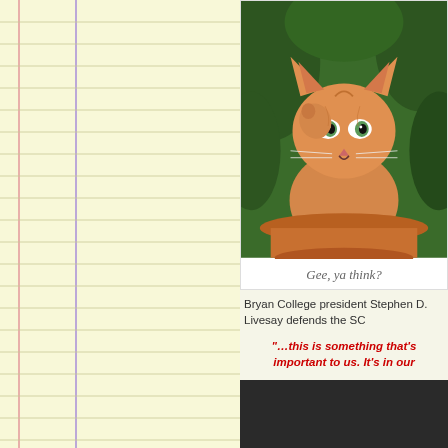[Figure (photo): Orange tabby kitten sitting in a terracotta flower pot, looking up with paw near face, green background]
Gee, ya think?
Bryan College president Stephen D. Livesay defends the SC
“…this is something that’s important to us. It’s in our
Oh. My. Mr. Livesay. Whatever possessed you to use that te
[Figure (other): Dark/black rectangle area at bottom right, likely a video embed or dark image]